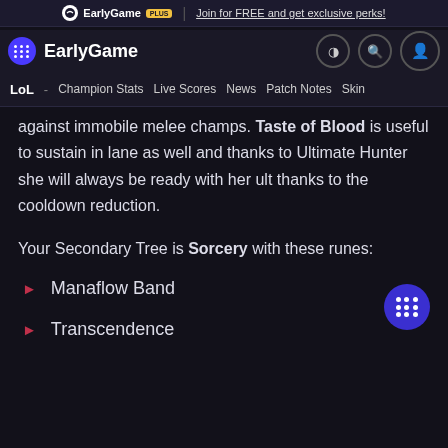EarlyGame PLUS | Join for FREE and get exclusive perks!
EarlyGame
LoL - Champion Stats  Live Scores  News  Patch Notes  Skin
against immobile melee champs. Taste of Blood is useful to sustain in lane as well and thanks to Ultimate Hunter she will always be ready with her ult thanks to the cooldown reduction.
Your Secondary Tree is Sorcery with these runes:
Manaflow Band
Transcendence